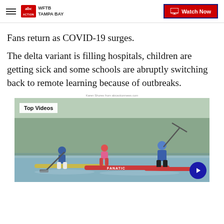WFTB TAMPA BAY | Watch Now
Fans return as COVID-19 surges.
The delta variant is filling hospitals, children are getting sick and some schools are abruptly switching back to remote learning because of outbreaks.
Karen Shores from abcactionmews.com
[Figure (photo): Paddle boarders on a lake, Top Videos label overlay, partial play button visible at bottom right]